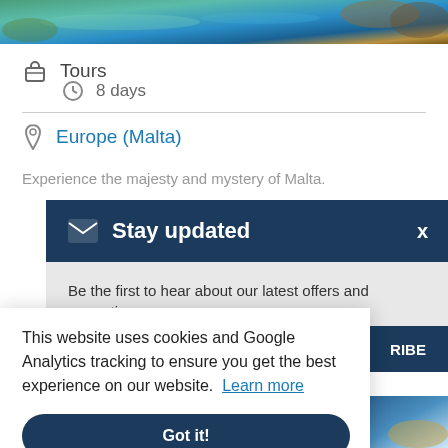[Figure (photo): Aerial coastal photo of Malta showing turquoise sea and rocky cliffs]
Tours
8 days
Europe (Malta)
Experience the majesty and mystery of Malta.
Stay updated
Be the first to hear about our latest offers and promotions.
This website uses cookies and Google Analytics tracking to ensure you get the best experience on our website. Learn more
Got it!